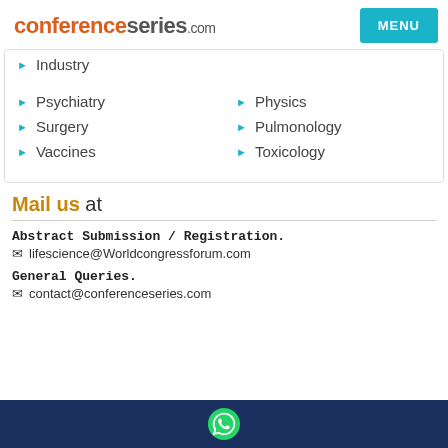conferenceseries.com
Industry
Physics
Psychiatry
Pulmonology
Surgery
Toxicology
Vaccines
Mail us at
Abstract Submission / Registration.
 lifescience@Worldcongressforum.com
General Queries.
 contact@conferenceseries.com